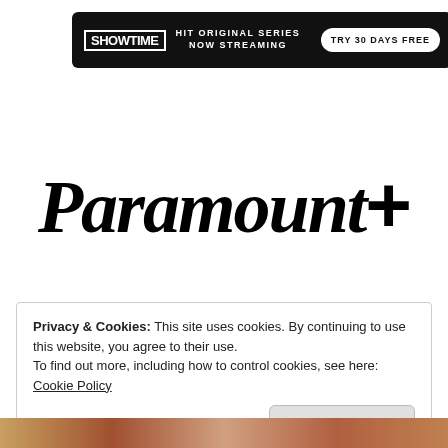[Figure (logo): Showtime advertisement banner: black rounded rectangle with SHOWTIME logo, 'HIT ORIGINAL SERIES NOW STREAMING' text, and 'TRY 30 DAYS FREE' button]
[Figure (logo): Paramount+ logo in large black italic script font]
Privacy & Cookies: This site uses cookies. By continuing to use this website, you agree to their use.
To find out more, including how to control cookies, see here: Cookie Policy
Close and accept
[Figure (photo): Bottom strip showing partial view of a colorful image, likely a TV show still]